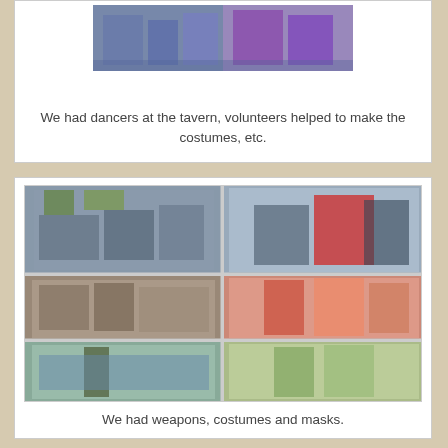[Figure (photo): Photo collage of dancers at a tavern in costume]
We had dancers at the tavern, volunteers helped to make the costumes, etc.
[Figure (photo): Collage of multiple photos showing people in costumes with weapons and masks at an outdoor event]
We had weapons, costumes and masks.